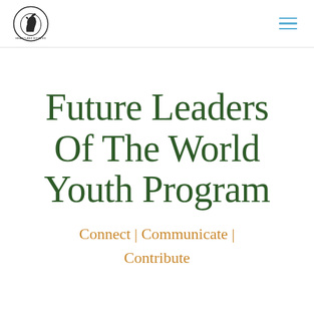Heartland Estates logo and navigation
Future Leaders Of The World Youth Program
Connect | Communicate | Contribute